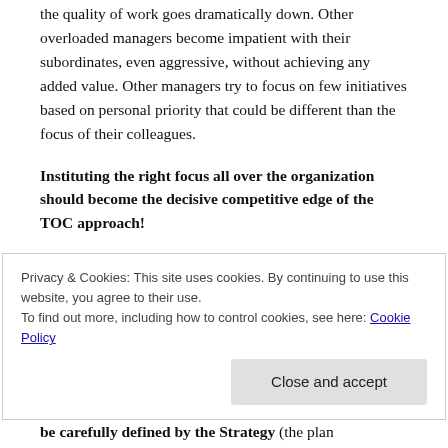the quality of work goes dramatically down. Other overloaded managers become impatient with their subordinates, even aggressive, without achieving any added value. Other managers try to focus on few initiatives based on personal priority that could be different than the focus of their colleagues.
Instituting the right focus all over the organization should become the decisive competitive edge of the TOC approach!
The organizational focus has two different time frames to consider:
Privacy & Cookies: This site uses cookies. By continuing to use this website, you agree to their use.
To find out more, including how to control cookies, see here: Cookie Policy
be carefully defined by the Strategy (the plan